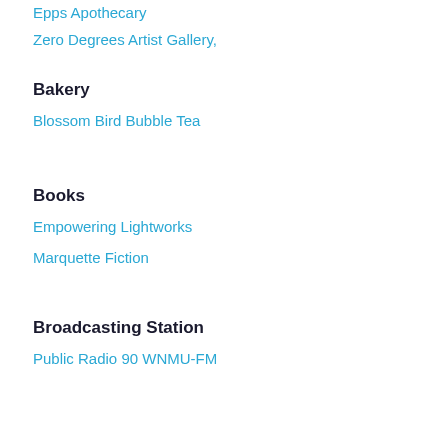Epps Apothecary
Zero Degrees Artist Gallery,
Bakery
Blossom Bird Bubble Tea
Books
Empowering Lightworks
Marquette Fiction
Broadcasting Station
Public Radio 90 WNMU-FM